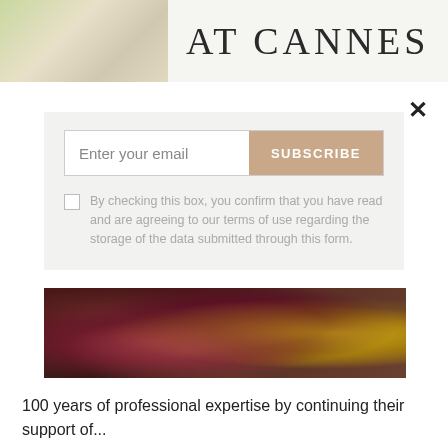[Figure (photo): Top banner with light green/cream food photo on the left and 'AT CANNES' title text on the right]
×
[Figure (screenshot): Email subscription modal with input field, SUBSCRIBE button, and checkbox consent text]
[Figure (photo): Close-up photo of red/purple flowers with a yellow decorative element]
100 years of professional expertise by continuing their support of...